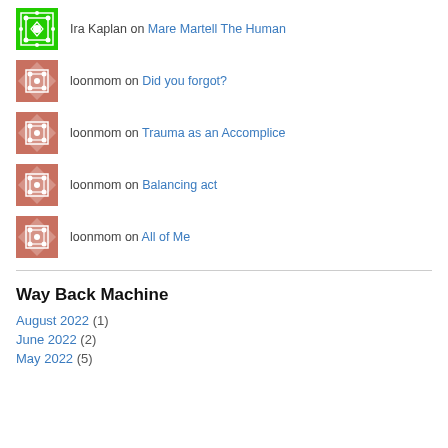Ira Kaplan on Mare Martell The Human
loonmom on Did you forgot?
loonmom on Trauma as an Accomplice
loonmom on Balancing act
loonmom on All of Me
Way Back Machine
August 2022 (1)
June 2022 (2)
May 2022 (5)